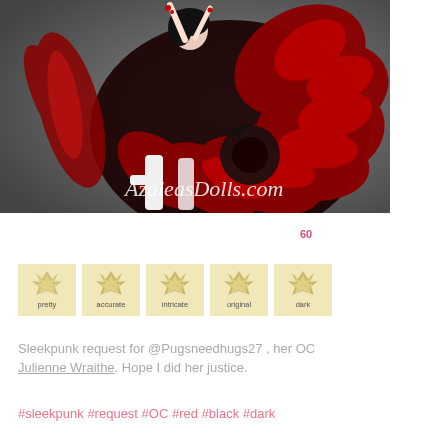[Figure (illustration): Digital illustration of a dark fantasy character in a deep red and black feathered/petal gown with white boots. The character has dark hair and dramatic styling. Watermark reads 'AzaleasDolls.com' in white script at the bottom of the image.]
60
[Figure (infographic): Five badge icons in cream/yellow squares labeled: pretty, accurate, intricate, original, dark. Each badge shows a shell/fan motif.]
Sleekpunk request for @Pugsneedhugs27 , her OC Julienne Wraithe. Hope I did her justice.
#sleekpunk #request #OC #red #black #dark